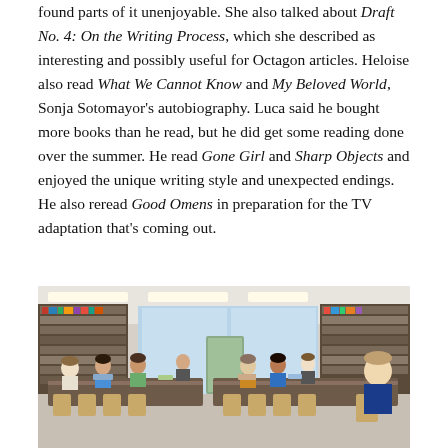found parts of it unenjoyable. She also talked about Draft No. 4: On the Writing Process, which she described as interesting and possibly useful for Octagon articles. Heloise also read What We Cannot Know and My Beloved World, Sonja Sotomayor's autobiography. Luca said he bought more books than he read, but he did get some reading done over the summer. He read Gone Girl and Sharp Objects and enjoyed the unique writing style and unexpected endings. He also reread Good Omens in preparation for the TV adaptation that's coming out.
[Figure (photo): A group of students and adults seated around tables in a school library, engaged in discussion. Bookshelves and large windows are visible in the background.]